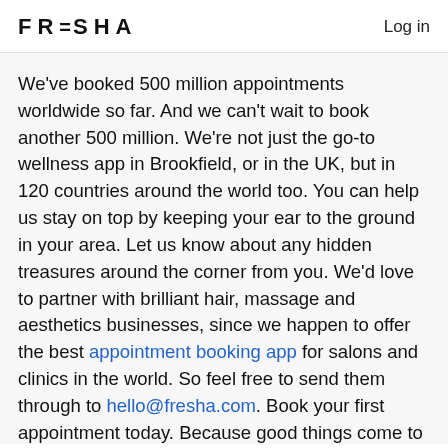FRESHA   Log in
We've booked 500 million appointments worldwide so far. And we can't wait to book another 500 million. We're not just the go-to wellness app in Brookfield, or in the UK, but in 120 countries around the world too. You can help us stay on top by keeping your ear to the ground in your area. Let us know about any hidden treasures around the corner from you. We'd love to partner with brilliant hair, massage and aesthetics businesses, since we happen to offer the best appointment booking app for salons and clinics in the world. So feel free to send them through to hello@fresha.com. Book your first appointment today. Because good things come to those on Fresha.